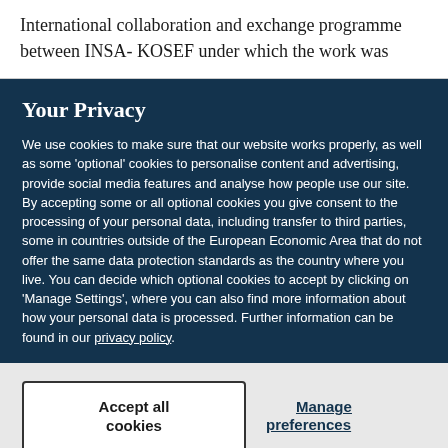International collaboration and exchange programme between INSA- KOSEF under which the work was
Your Privacy
We use cookies to make sure that our website works properly, as well as some 'optional' cookies to personalise content and advertising, provide social media features and analyse how people use our site. By accepting some or all optional cookies you give consent to the processing of your personal data, including transfer to third parties, some in countries outside of the European Economic Area that do not offer the same data protection standards as the country where you live. You can decide which optional cookies to accept by clicking on 'Manage Settings', where you can also find more information about how your personal data is processed. Further information can be found in our privacy policy.
Accept all cookies
Manage preferences